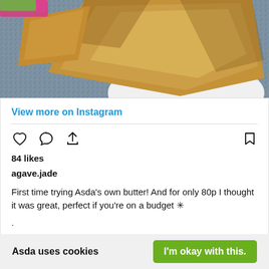[Figure (photo): Close-up photo of toasted bread/crumpets on a white plate, on a blue-grey granite surface, with a pink/magenta butter dish visible at top left]
View more on Instagram
[Figure (infographic): Instagram action icons row: heart (like), speech bubble (comment), share arrow, and bookmark icon]
84 likes
agave.jade
First time trying Asda's own butter! And for only 80p I thought it was great, perfect if you're on a budget ✳
. 
 .
Asda uses cookies
I'm okay with this.